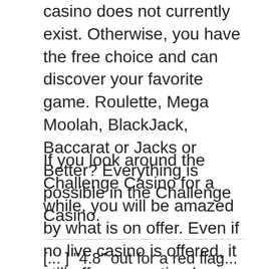casino does not currently exist. Otherwise, you have the free choice and can discover your favorite game. Roulette, Mega Moolah, BlackJack, Baccarat or Jacks or Better? Everything is possible in the Challenge Casino.
If you look around the Challenge Casino for a while, you will be amazed by what is on offer. Even if no live casino is offered, it still offers an optimal gaming world. The fun factor is guaranteed in the Challenge Casino not too short.
[... ] "4.8" out for a red flag...